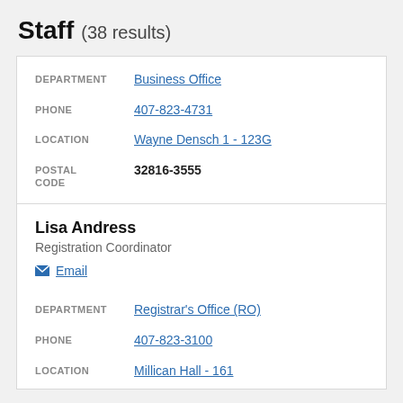Staff (38 results)
| Field | Value |
| --- | --- |
| DEPARTMENT | Business Office |
| PHONE | 407-823-4731 |
| LOCATION | Wayne Densch 1 - 123G |
| POSTAL CODE | 32816-3555 |
Lisa Andress
Registration Coordinator
Email
| Field | Value |
| --- | --- |
| DEPARTMENT | Registrar's Office (RO) |
| PHONE | 407-823-3100 |
| LOCATION | Millican Hall - 161 |